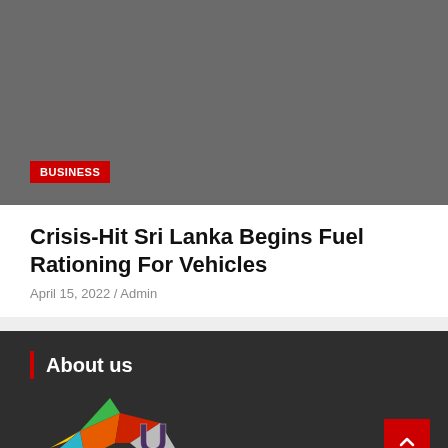[Figure (other): Dark grey background image area for article thumbnail]
BUSINESS
Crisis-Hit Sri Lanka Begins Fuel Rationing For Vehicles
April 15, 2022 / Admin
About us
[Figure (logo): Colorful star/lightning bolt logo with letter U, news website logo]
Best Online News Portal Website . Here You can Find all type of News like Tech News, Sports News, Fashion News, Health